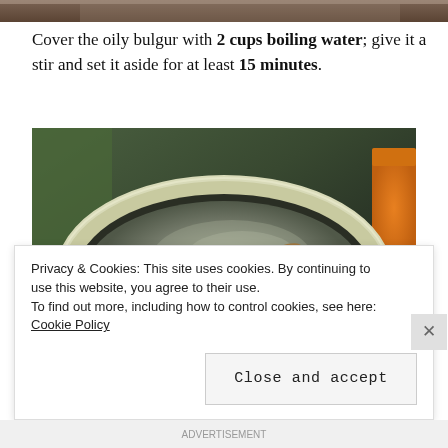[Figure (photo): Top portion of a cooking photo, partially cropped at top of page]
Cover the oily bulgur with 2 cups boiling water; give it a stir and set it aside for at least 15 minutes.
[Figure (photo): A yellow bowl filled with bulgur and boiling water, being stirred with a wooden spoon]
Privacy & Cookies: This site uses cookies. By continuing to use this website, you agree to their use.
To find out more, including how to control cookies, see here: Cookie Policy
Close and accept